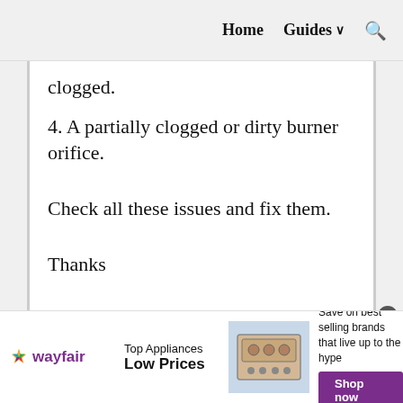Home   Guides ∨   🔍
clogged.
4. A partially clogged or dirty burner orifice.
Check all these issues and fix them.
Thanks
[Figure (other): Wayfair advertisement banner: 'Top Appliances Low Prices' with image of a stove and 'Save on best selling brands that live up to the hype' with a purple 'Shop now' button]